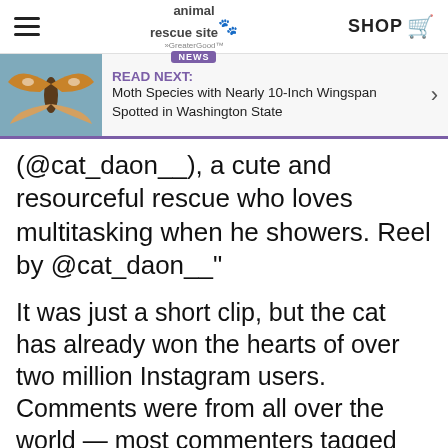the animal rescue site · SHOP
[Figure (screenshot): Read Next banner with image of a large moth with nearly 10-inch wingspan and article link text: 'READ NEXT: Moth Species with Nearly 10-Inch Wingspan Spotted in Washington State']
(@cat_daon__), a cute and resourceful rescue who loves multitasking when he showers. Reel by @cat_daon__"
It was just a short clip, but the cat has already won the hearts of over two million Instagram users. Comments were from all over the world — most commenters tagged their friends to share the hilarious video. What makes it funnier is the background